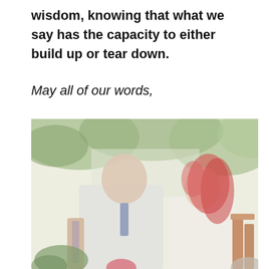wisdom, knowing that what we say has the capacity to either build up or tear down.
May all of our words,
[Figure (photo): An outdoor wedding scene showing a bald groom in a white vest and blue tie facing a bride with long red hair in a white dress, surrounded by green foliage. The image has a washed-out, overexposed look.]